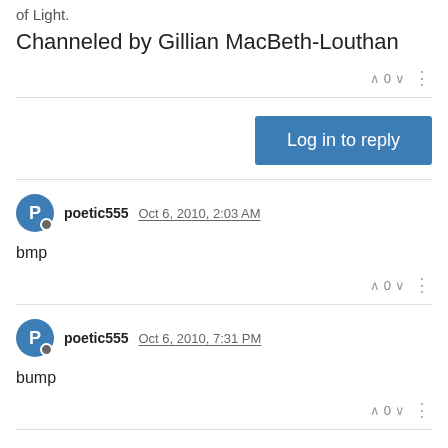of Light.
Channeled by Gillian MacBeth-Louthan
Log in to reply
poetic555 Oct 6, 2010, 2:03 AM
bmp
poetic555 Oct 6, 2010, 7:31 PM
bump